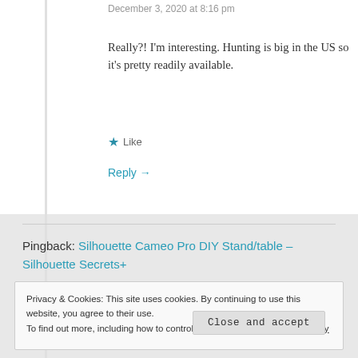December 3, 2020 at 8:16 pm
Really?! I'm interesting. Hunting is big in the US so it's pretty readily available.
★ Like
Reply →
Pingback: Silhouette Cameo Pro DIY Stand/table – Silhouette Secrets+
Privacy & Cookies: This site uses cookies. By continuing to use this website, you agree to their use. To find out more, including how to control cookies, see here: Cookie Policy
Close and accept